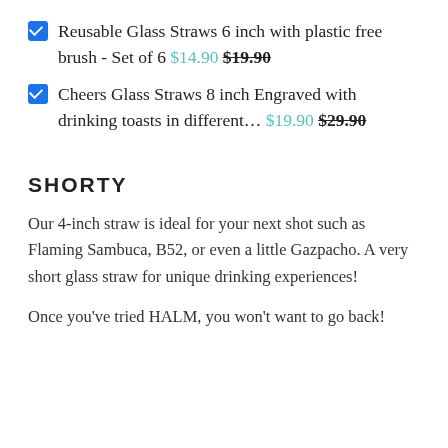Reusable Glass Straws 6 inch with plastic free brush - Set of 6 $14.90 $19.90
Cheers Glass Straws 8 inch Engraved with drinking toasts in different… $19.90 $29.90
SHORTY
Our 4-inch straw is ideal for your next shot such as Flaming Sambuca, B52, or even a little Gazpacho. A very short glass straw for unique drinking experiences!
Once you've tried HALM, you won't want to go back!